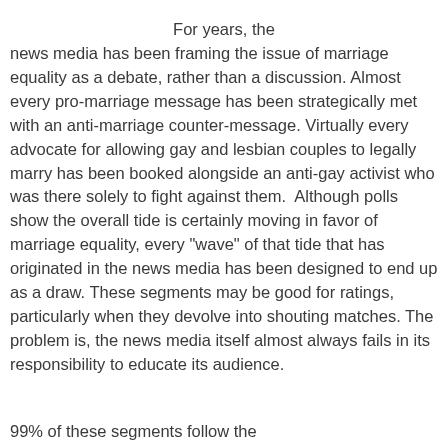For years, the news media has been framing the issue of marriage equality as a debate, rather than a discussion. Almost every pro-marriage message has been strategically met with an anti-marriage counter-message. Virtually every advocate for allowing gay and lesbian couples to legally marry has been booked alongside an anti-gay activist who was there solely to fight against them.  Although polls show the overall tide is certainly moving in favor of marriage equality, every "wave" of that tide that has originated in the news media has been designed to end up as a draw. These segments may be good for ratings, particularly when they devolve into shouting matches. The problem is, the news media itself almost always fails in its responsibility to educate its audience.
99% of these segments follow the